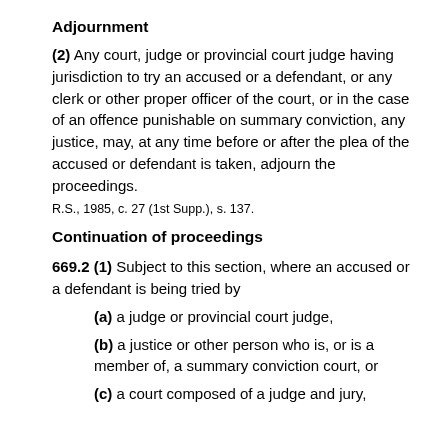Adjournment
(2) Any court, judge or provincial court judge having jurisdiction to try an accused or a defendant, or any clerk or other proper officer of the court, or in the case of an offence punishable on summary conviction, any justice, may, at any time before or after the plea of the accused or defendant is taken, adjourn the proceedings.
R.S., 1985, c. 27 (1st Supp.), s. 137.
Continuation of proceedings
669.2 (1) Subject to this section, where an accused or a defendant is being tried by
(a) a judge or provincial court judge,
(b) a justice or other person who is, or is a member of, a summary conviction court, or
(c) a court composed of a judge and jury,